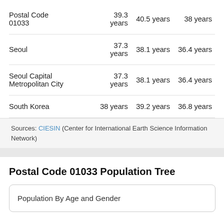|  |  |  |  |
| --- | --- | --- | --- |
| Postal Code 01033 | 39.3 years | 40.5 years | 38 years |
| Seoul | 37.3 years | 38.1 years | 36.4 years |
| Seoul Capital Metropolitan City | 37.3 years | 38.1 years | 36.4 years |
| South Korea | 38 years | 39.2 years | 36.8 years |
Sources: CIESIN (Center for International Earth Science Information Network)
Postal Code 01033 Population Tree
Population By Age and Gender